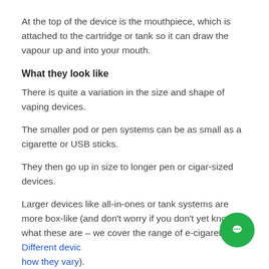At the top of the device is the mouthpiece, which is attached to the cartridge or tank so it can draw the vapour up and into your mouth.
What they look like
There is quite a variation in the size and shape of vaping devices.
The smaller pod or pen systems can be as small as a cigarette or USB sticks.
They then go up in size to longer pen or cigar-sized devices.
Larger devices like all-in-ones or tank systems are more box-like (and don't worry if you don't yet know what these are – we cover the range of e-cigarettes in Different devices and how they vary).
The top of the device...